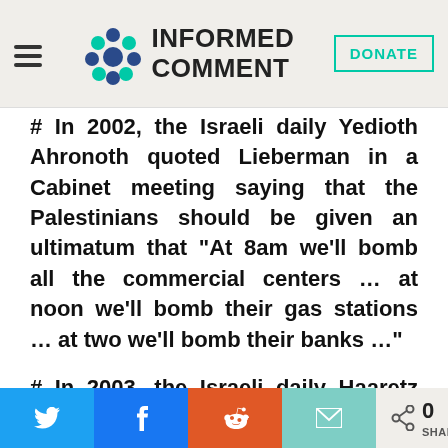INFORMED COMMENT
# In 2002, the Israeli daily Yedioth Ahronoth quoted Lieberman in a Cabinet meeting saying that the Palestinians should be given an ultimatum that “At 8am we’ll bomb all the commercial centers … at noon we’ll bomb their gas stations … at two we’ll bomb their banks …”
# In 2003, the Israeli daily Haaretz reported that